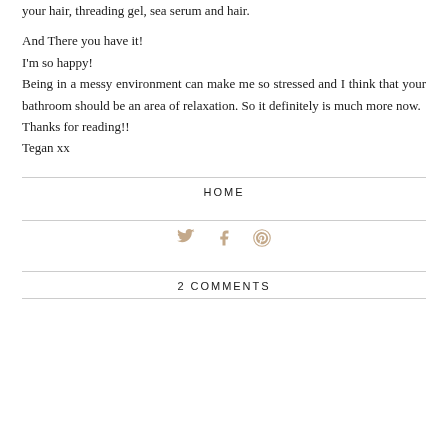your hair, threading gel, sea serum and hair.
And There you have it!
I'm so happy!
Being in a messy environment can make me so stressed and I think that your bathroom should be an area of relaxation. So it definitely is much more now.
Thanks for reading!!
Tegan xx
HOME
[Figure (infographic): Social media share icons: Twitter bird, Facebook f, Pinterest circle pin]
2 COMMENTS